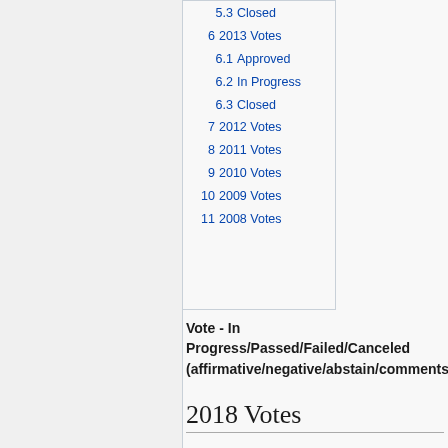5.3 Closed
6 2013 Votes
6.1 Approved
6.2 In Progress
6.3 Closed
7 2012 Votes
8 2011 Votes
9 2010 Votes
10 2009 Votes
11 2008 Votes
Vote - In Progress/Passed/Failed/Canceled (affirmative/negative/abstain/comments)
2018 Votes